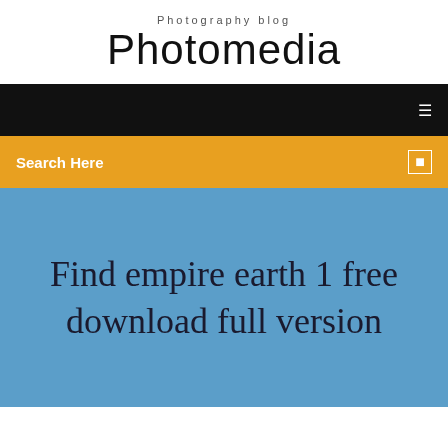Photography blog
Photomedia
[Figure (screenshot): Black navigation bar with a white menu icon on the right]
[Figure (screenshot): Gold/amber search bar with 'Search Here' text on left and a search icon on the right]
Find empire earth 1 free download full version